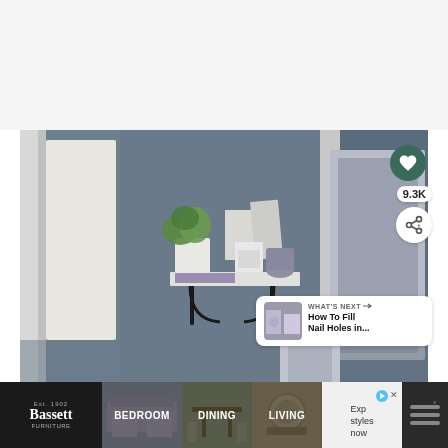[Figure (photo): Interior room photo showing a dark blue-gray wall with a white floating shelf mounted on black brackets. On the shelf sits a white plant pot with green foliage, framed pictures, a small white box, and a jar. A white door frame is visible on the left, and a large mirror with white frame is on the right side.]
[Figure (screenshot): UI overlay with heart/save button showing 9.3K saves, a share button, and a 'What's Next' card showing a thumbnail and text 'How To Fill Nail Holes in...']
[Figure (infographic): Bottom navigation bar with Bassett Furniture logo ad, bedroom, dining, living room category thumbnails, an advertisement for 'Exp styles now', and a weather/news widget icon]